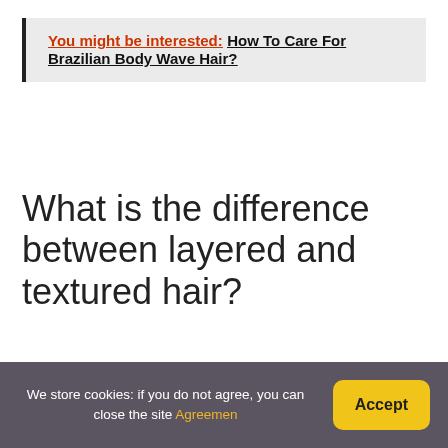You might be interested: How To Care For Brazilian Body Wave Hair?
What is the difference between layered and textured hair?
Layers refer to exterior layers in your hair. This means layers that you can actually see. Thinning and texturizing refer to interior layers that you can't physically see in the hair. You can see the long layers in this cut because the bottom of the hair is not highlighted.
We store cookies: if you do not agree, you can close the site Agreemen